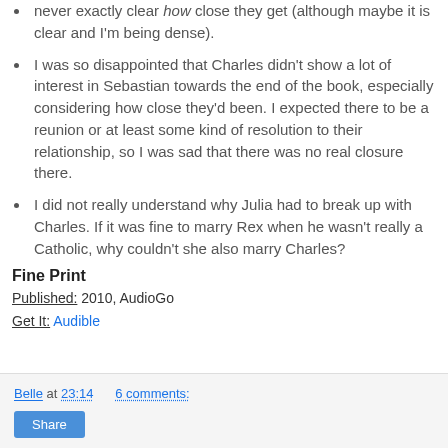never exactly clear how close they get (although maybe it is clear and I'm being dense).
I was so disappointed that Charles didn't show a lot of interest in Sebastian towards the end of the book, especially considering how close they'd been. I expected there to be a reunion or at least some kind of resolution to their relationship, so I was sad that there was no real closure there.
I did not really understand why Julia had to break up with Charles. If it was fine to marry Rex when he wasn't really a Catholic, why couldn't she also marry Charles?
Fine Print
Published: 2010, AudioGo
Get It: Audible
Belle at 23:14    6 comments: